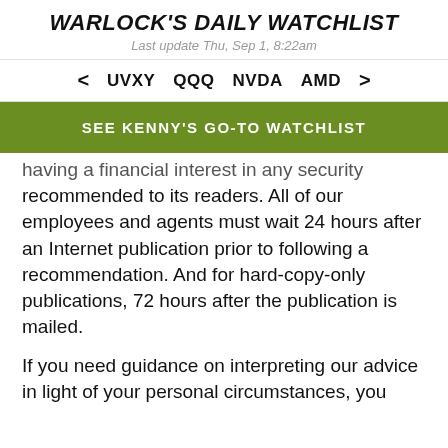WARLOCK'S DAILY WATCHLIST
Last update Thu, Sep 1, 8:22am
< UVXY QQQ NVDA AMD >
SEE KENNY'S GO-TO WATCHLIST
having a financial interest in any security recommended to its readers. All of our employees and agents must wait 24 hours after an Internet publication prior to following a recommendation. And for hard-copy-only publications, 72 hours after the publication is mailed.
If you need guidance on interpreting our advice in light of your personal circumstances, you